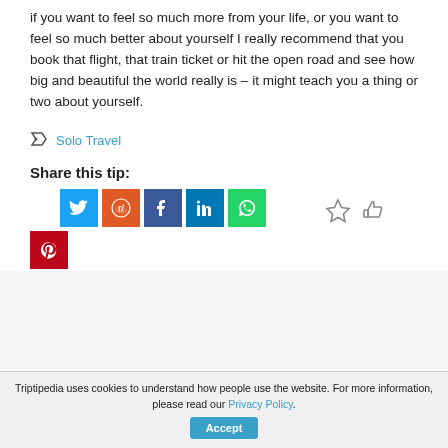if you want to feel so much more from your life, or you want to feel so much better about yourself I really recommend that you book that flight, that train ticket or hit the open road and see how big and beautiful the world really is – it might teach you a thing or two about yourself.
Solo Travel
Share this tip:
[Figure (infographic): Social share buttons: Twitter (blue), Reddit (orange), Facebook (dark blue), LinkedIn (blue), WhatsApp (green), Pinterest (red), plus star and thumbs-up action icons]
Triptipedia uses cookies to understand how people use the website. For more information, please read our Privacy Policy.